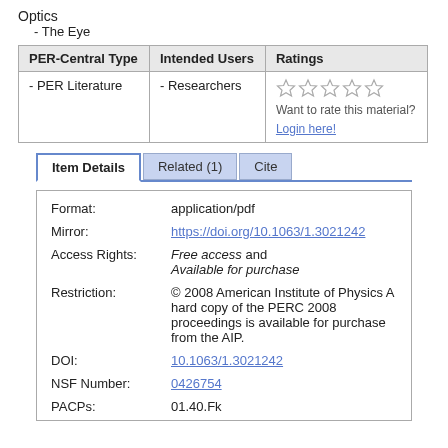Optics
- The Eye
| PER-Central Type | Intended Users | Ratings |
| --- | --- | --- |
| - PER Literature | - Researchers | ☆☆☆☆☆
Want to rate this material?
Login here! |
Item Details | Related (1) | Cite
| Format: | application/pdf |
| Mirror: | https://doi.org/10.1063/1.3021242 |
| Access Rights: | Free access and
Available for purchase |
| Restriction: | © 2008 American Institute of Physics
A hard copy of the PERC 2008 proceedings is available for purchase from the AIP. |
| DOI: | 10.1063/1.3021242 |
| NSF Number: | 0426754 |
| PACPs: | 01.40.Fk |